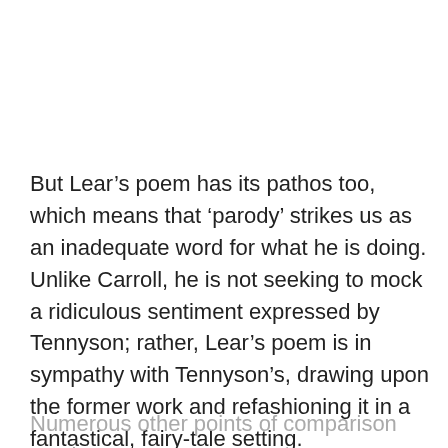But Lear’s poem has its pathos too, which means that ‘parody’ strikes us as an inadequate word for what he is doing. Unlike Carroll, he is not seeking to mock a ridiculous sentiment expressed by Tennyson; rather, Lear’s poem is in sympathy with Tennyson’s, drawing upon the former work and refashioning it in a fantastical, fairy-tale setting.
Numerous other points of comparison can be